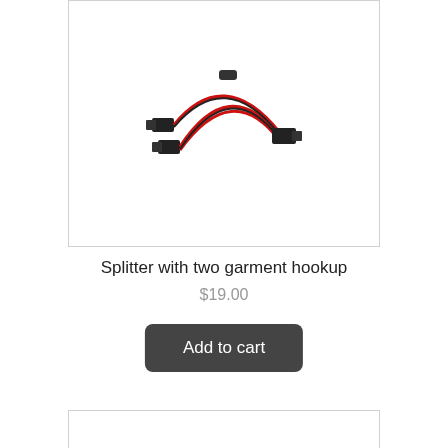[Figure (photo): A Y-shaped cable splitter with red and black wires, featuring three connectors — two on the left side and one on the right side, with a small black component at the top center joining them.]
Splitter with two garment hookup
$19.00
Add to cart
[Figure (photo): Bottom portion of another product card, partially visible.]